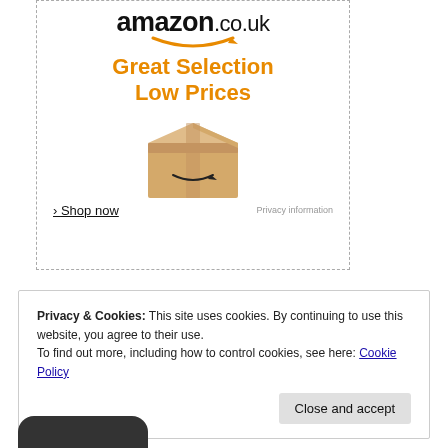[Figure (screenshot): Amazon.co.uk advertisement banner with logo, tagline 'Great Selection Low Prices', an Amazon package box image, Shop now link, and Privacy information link]
Privacy & Cookies: This site uses cookies. By continuing to use this website, you agree to their use.
To find out more, including how to control cookies, see here: Cookie Policy
Close and accept